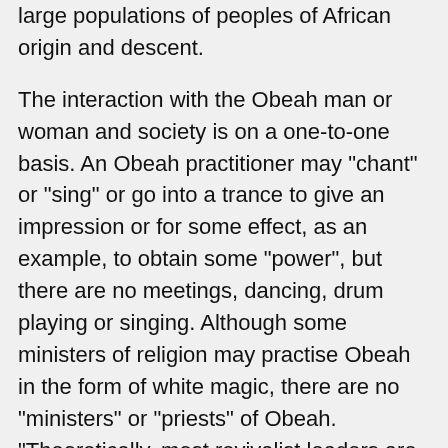large populations of peoples of African origin and descent.
The interaction with the Obeah man or woman and society is on a one-to-one basis. An Obeah practitioner may "chant" or "sing" or go into a trance to give an impression or for some effect, as an example, to obtain some "power", but there are no meetings, dancing, drum playing or singing. Although some ministers of religion may practise Obeah in the form of white magic, there are no "ministers" or "priests" of Obeah. "Theoretically, most revivalist leaders are religious leaders who are not involved in the practice of Obeah, and Obeah men and women are, supposedly, evil persons who practise magic without having church groups. Nevertheless, the temptation for revivalist leaders to try their hand at Obeah is strong because of the request made by followers, and, of course, there is a profit."
Then too, the actual term to describe people who